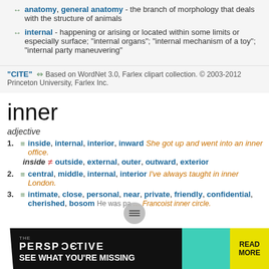↔ anatomy, general anatomy - the branch of morphology that deals with the structure of animals
↔ internal - happening or arising or located within some limits or especially surface; "internal organs"; "internal mechanism of a toy"; "internal party maneuvering"
"CITE" 🔗 Based on WordNet 3.0, Farlex clipart collection. © 2003-2012 Princeton University, Farlex Inc.
inner
adjective
1. ≡ inside, internal, interior, inward She got up and went into an inner office.
inside ≠ outside, external, outer, outward, exterior
2. ≡ central, middle, internal, interior I've always taught in inner London.
3. ≡ intimate, close, personal, near, private, friendly, confidential, cherished, bosom He was part of Francoist inner circle.